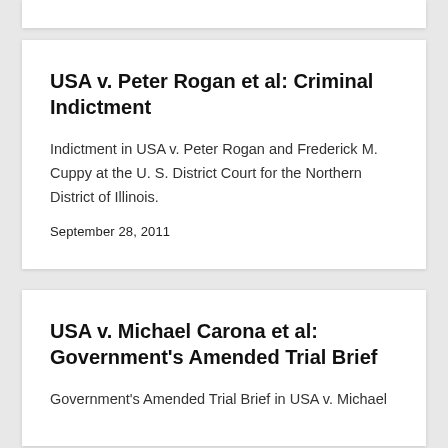USA v. Peter Rogan et al: Criminal Indictment
Indictment in USA v. Peter Rogan and Frederick M. Cuppy at the U. S. District Court for the Northern District of Illinois.
September 28, 2011
USA v. Michael Carona et al: Government's Amended Trial Brief
Government's Amended Trial Brief in USA v. Michael